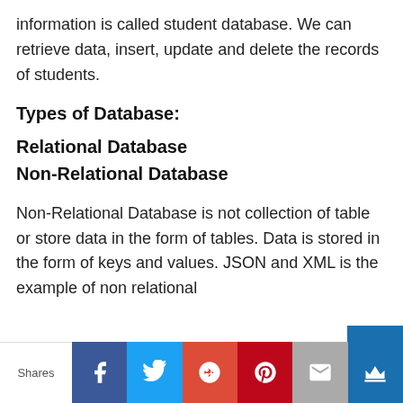information is called student database. We can retrieve data, insert, update and delete the records of students.
Types of Database:
Relational Database
Non-Relational Database
Non-Relational Database is not collection of table or store data in the form of tables. Data is stored in the form of keys and values. JSON and XML is the example of non relational
[Figure (other): Social sharing bar with Shares label, Facebook, Twitter, Google+, Pinterest, Email, and crown/bookmark buttons]